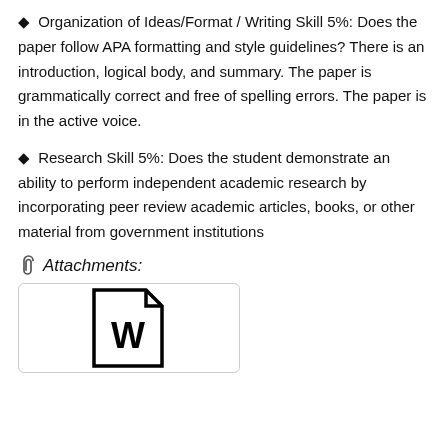◆ Organization of Ideas/Format / Writing Skill 5%: Does the paper follow APA formatting and style guidelines? There is an introduction, logical body, and summary. The paper is grammatically correct and free of spelling errors. The paper is in the active voice.
◆ Research Skill 5%: Does the student demonstrate an ability to perform independent academic research by incorporating peer review academic articles, books, or other material from government institutions
🖇 Attachments:
[Figure (illustration): A Microsoft Word document file icon — page with folded corner and a large bold W in the center]